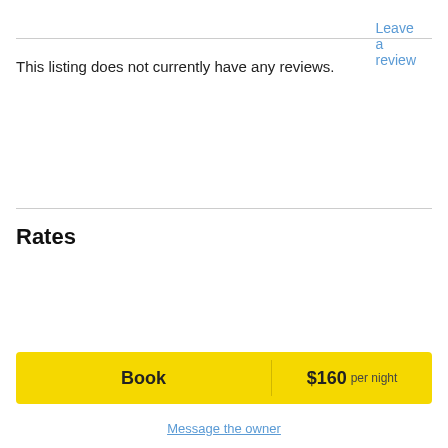Leave a review
This listing does not currently have any reviews.
Rates
| All year |  |  |
| $160 / Night for 2 guests
Min. stay: 2 Nights |  |  |
| All year (Weekends) |  |  |
| $170 / Night for 2 guests |  |  |
Book   $160 per night
Message the owner